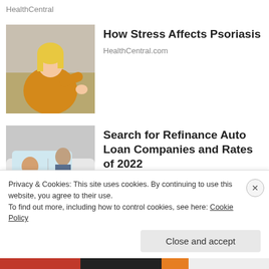HealthCentral
How Stress Affects Psoriasis
HealthCentral.com
[Figure (photo): Woman in yellow sweater looking at skin on her arm]
Search for Refinance Auto Loan Companies and Rates of 2022
Search Ads
[Figure (photo): Two men near a car, one leaning into window]
Privacy & Cookies: This site uses cookies. By continuing to use this website, you agree to their use.
To find out more, including how to control cookies, see here: Cookie Policy
Close and accept